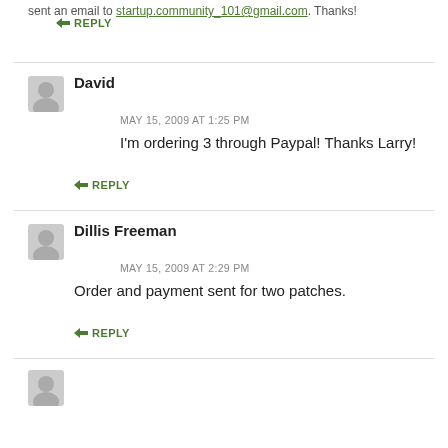sent an email to http://startup.community_101@gmail.com. Thanks!
↳ REPLY
David
MAY 15, 2009 AT 1:25 PM
I'm ordering 3 through Paypal! Thanks Larry!
↳ REPLY
Dillis Freeman
MAY 15, 2009 AT 2:29 PM
Order and payment sent for two patches.
↳ REPLY